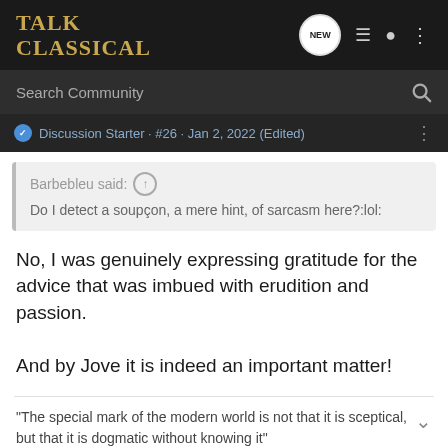Talk Classical
Search Community
Discussion Starter · #26 · Jan 2, 2022 (Edited)
Barbebleu said: ↑
Do I detect a soupçon, a mere hint, of sarcasm here?:lol:
No, I was genuinely expressing gratitude for the advice that was imbued with erudition and passion.

And by Jove it is indeed an important matter!
"The special mark of the modern world is not that it is sceptical, but that it is dogmatic without knowing it"
Barbebleu